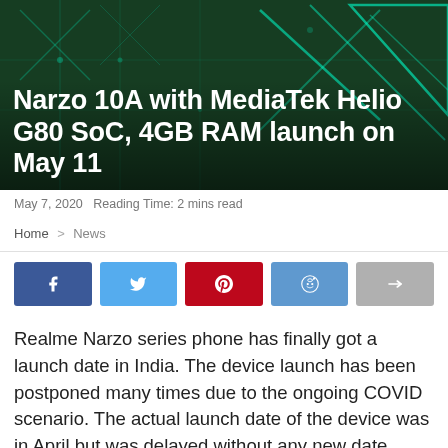[Figure (photo): Dark green tech/chip background with glowing circuit pattern, hero image for article]
Narzo 10A with MediaTek Helio G80 SoC, 4GB RAM launch on May 11
May 7, 2020  Reading Time: 2 mins read
Home > News
[Figure (infographic): Social share buttons row: Facebook, Twitter, Pinterest, Reddit, Share]
Realme Narzo series phone has finally got a launch date in India. The device launch has been postponed many times due to the ongoing COVID scenario. The actual launch date of the device was in April but was delayed without any new date. However, today the company has finally confirmed that the new